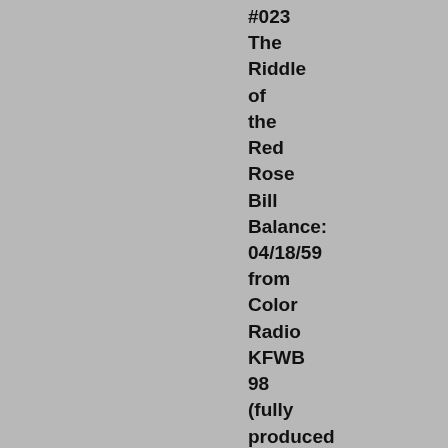#023 The Riddle of the Red Rose Bill Balance: 04/18/59 from Color Radio KFWB 98 (fully produced news at the end) (Cuban's rampage) Busy Mr.